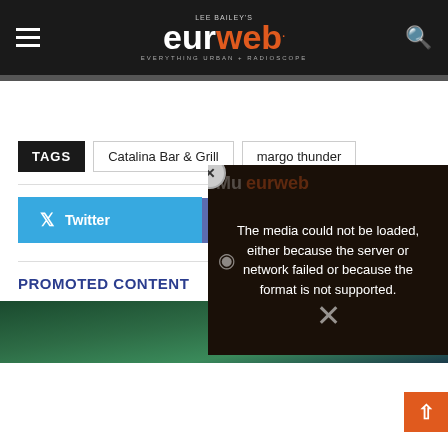Lee Bailey's EURweb — Everything Urban + Radioscope
TAGS   Catalina Bar & Grill   margo thunder
Twitter   Facebook
[Figure (screenshot): Video player overlay showing error: The media could not be loaded, either because the server or network failed or because the format is not supported. EURweb logo visible in background.]
PROMOTED CONTENT
[Figure (photo): Promotional content thumbnail showing a hand with a dark green/teal blurred background.]